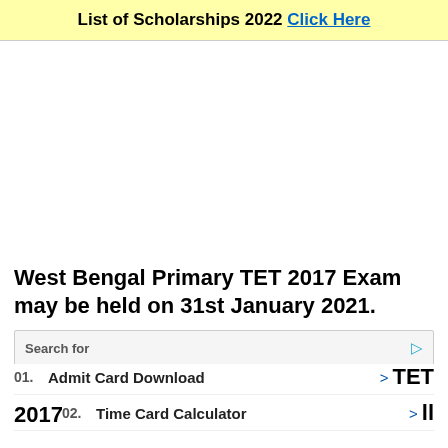List of Scholarships 2022 Click Here
[Figure (other): Advertisement / blank white area]
West Bengal Primary TET 2017 Exam may be held on 31st January 2021.
Search for [Admit Card Download] [01.] [>] TET
Down 01. Admit Card Download > TET
2017 02. Time Card Calculator > ll
Yahoo! Search | Sponsored
inform you every single update about WBBPE